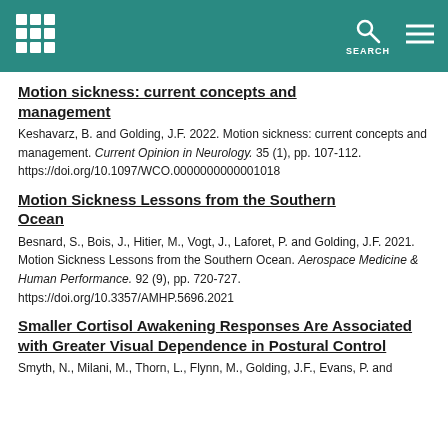Header bar with institution logo, search icon, and menu
Motion sickness: current concepts and management
Keshavarz, B. and Golding, J.F. 2022. Motion sickness: current concepts and management. Current Opinion in Neurology. 35 (1), pp. 107-112. https://doi.org/10.1097/WCO.0000000000001018
Motion Sickness Lessons from the Southern Ocean
Besnard, S., Bois, J., Hitier, M., Vogt, J., Laforet, P. and Golding, J.F. 2021. Motion Sickness Lessons from the Southern Ocean. Aerospace Medicine & Human Performance. 92 (9), pp. 720-727. https://doi.org/10.3357/AMHP.5696.2021
Smaller Cortisol Awakening Responses Are Associated with Greater Visual Dependence in Postural Control
Smyth, N., Milani, M., Thorn, L., Flynn, M., Golding, J.F., Evans, P. and...2021. Smaller Cortisol Awakening Responses Are...